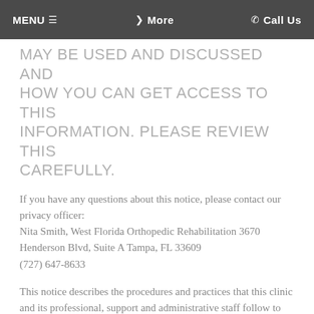MENU ≡   ❮ More   ✆ Call Us
MAY BE USED AND DISCLOSED AND HOW YOU CAN GET ACCESS TO THIS INFORMATION. PLEASE REVIEW THIS CAREFULLY.
If you have any questions about this notice, please contact our privacy officer:
Nita Smith, West Florida Orthopedic Rehabilitation
3670 Henderson Blvd, Suite A Tampa, FL 33609
(727) 647-8633
This notice describes the procedures and practices that this clinic and its professional, support and administrative staff follow to protect the privacy of your health information.
YOUR HEALTH INFORMATION